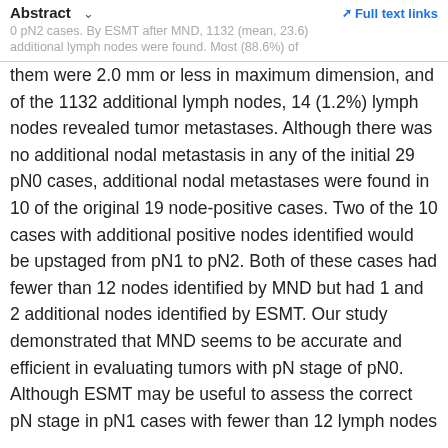Abstract  ∨   Full text links
0 pN2 cases. By ESMT after MND, 1132 (mean, 23.6) additional lymph nodes were found. Most (88.6%) of
them were 2.0 mm or less in maximum dimension, and of the 1132 additional lymph nodes, 14 (1.2%) lymph nodes revealed tumor metastases. Although there was no additional nodal metastasis in any of the initial 29 pN0 cases, additional nodal metastases were found in 10 of the original 19 node-positive cases. Two of the 10 cases with additional positive nodes identified would be upstaged from pN1 to pN2. Both of these cases had fewer than 12 nodes identified by MND but had 1 and 2 additional nodes identified by ESMT. Our study demonstrated that MND seems to be accurate and efficient in evaluating tumors with pN stage of pN0. Although ESMT may be useful to assess the correct pN stage in pN1 cases with fewer than 12 lymph nodes in MND, it may not add any additional information in pN0 cases or in node-positive cases with 12 or more lymph nodes found by MND.